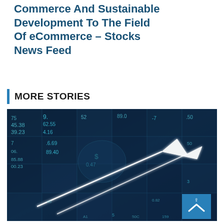Commerce And Sustainable Development To The Field Of eCommerce – Stocks News Feed
MORE STORIES
[Figure (photo): Stock market themed image with financial numbers and a glowing white upward arrow, dark blue toned background with currency and stock prices overlaid.]